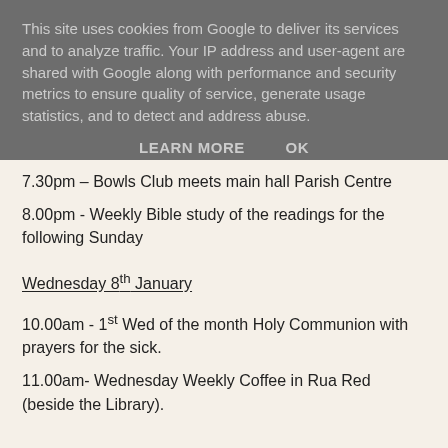This site uses cookies from Google to deliver its services and to analyze traffic. Your IP address and user-agent are shared with Google along with performance and security metrics to ensure quality of service, generate usage statistics, and to detect and address abuse.
LEARN MORE    OK
7.30pm – Bowls Club meets main hall Parish Centre
8.00pm - Weekly Bible study of the readings for the following Sunday
Wednesday 8th January
10.00am - 1st Wed of the month Holy Communion with prayers for the sick.
11.00am- Wednesday Weekly Coffee in Rua Red (beside the Library).